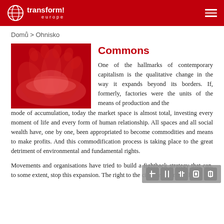transform! europe
Domů > Ohnisko
[Figure (photo): Red-tinted photo of multiple hands joined together in a circle from above]
Commons
One of the hallmarks of contemporary capitalism is the qualitative change in the way it expands beyond its borders. If, formerly, factories were the units of the means of production and the mode of accumulation, today the market space is almost total, investing every moment of life and every form of human relationship. All spaces and all social wealth have, one by one, been appropriated to become commodities and means to make profits. And this commodification process is taking place to the great detriment of environmental and fundamental rights.
Movements and organisations have tried to build a fightback strategy that can, to some extent, stop this expansion. The right to the city, environmental